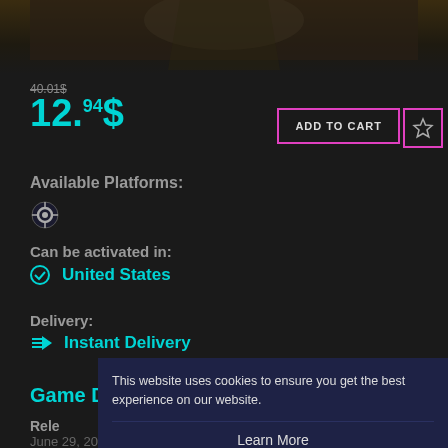[Figure (screenshot): Top portion of a game product page screenshot showing a dark warrior/assassin character image at the top, partially visible]
40.01$
12.94$
ADD TO CART
Available Platforms:
[Figure (logo): Steam platform logo icon]
Can be activated in:
✓ United States
Delivery:
⚡ Instant Delivery
Game Details
Release
June 29, 2021
Product type:
This website uses cookies to ensure you get the best experience on our website.
Learn More
Decline
Allow All